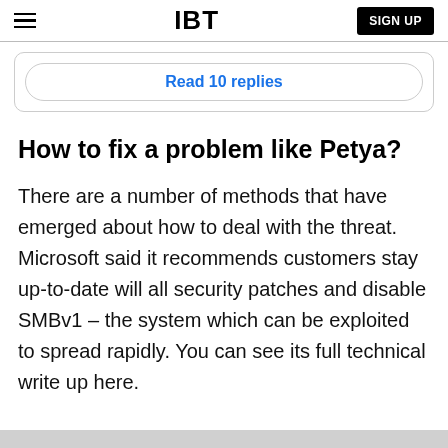IBT — SIGN UP
Read 10 replies
How to fix a problem like Petya?
There are a number of methods that have emerged about how to deal with the threat. Microsoft said it recommends customers stay up-to-date will all security patches and disable SMBv1 – the system which can be exploited to spread rapidly. You can see its full technical write up here.